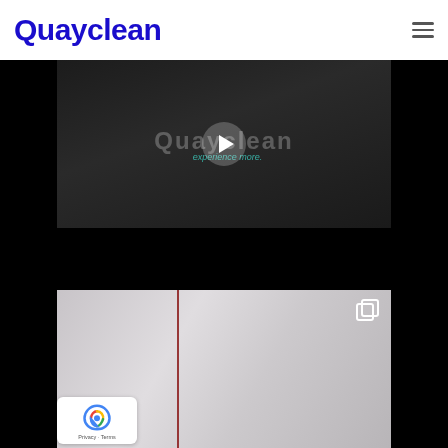Quayclean
[Figure (screenshot): Video thumbnail showing a person wearing a dark Quayclean branded shirt with 'experience more' tagline and a play button overlay]
[Figure (screenshot): Video screenshot showing a white ceiling/dome with a vertical red rod/pole and an expand icon in the top right corner; reCAPTCHA privacy badge visible in bottom-left corner]